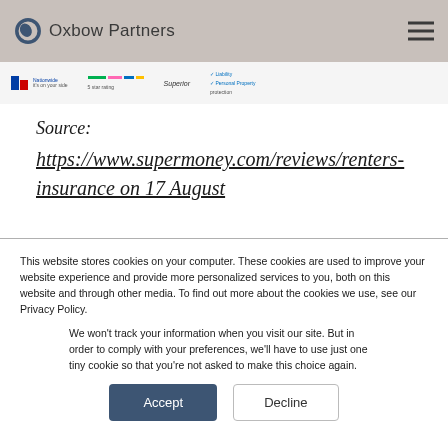Oxbow Partners
[Figure (screenshot): Partial screenshot of insurance comparison page showing Nationwide and other insurer logos/ratings]
Source:
https://www.supermoney.com/reviews/renters-insurance on 17 August
This website stores cookies on your computer. These cookies are used to improve your website experience and provide more personalized services to you, both on this website and through other media. To find out more about the cookies we use, see our Privacy Policy.
We won't track your information when you visit our site. But in order to comply with your preferences, we'll have to use just one tiny cookie so that you're not asked to make this choice again.